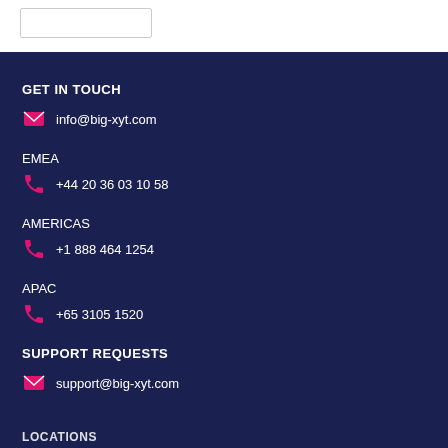GET IN TOUCH
info@big-xyt.com
EMEA
+44 20 36 03 10 58
AMERICAS
+1 888 464 1254
APAC
+65 3105 1520
SUPPORT REQUESTS
support@big-xyt.com
LOCATIONS